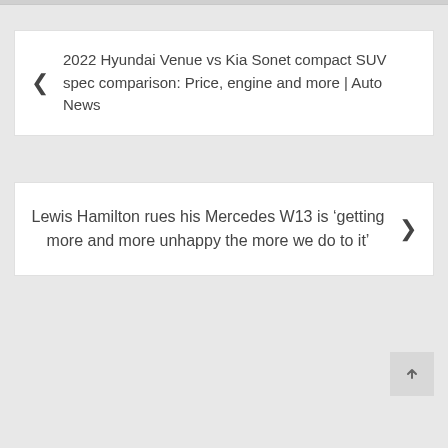< 2022 Hyundai Venue vs Kia Sonet compact SUV spec comparison: Price, engine and more | Auto News
Lewis Hamilton rues his Mercedes W13 is ‘getting more and more unhappy the more we do to it’ >